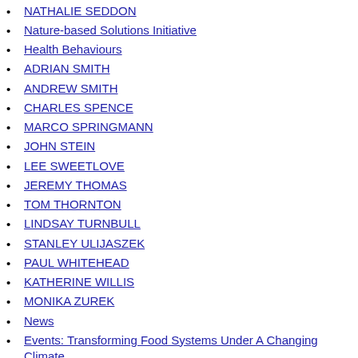NATHALIE SEDDON
Nature-based Solutions Initiative
Health Behaviours
ADRIAN SMITH
ANDREW SMITH
CHARLES SPENCE
MARCO SPRINGMANN
JOHN STEIN
LEE SWEETLOVE
JEREMY THOMAS
TOM THORNTON
LINDSAY TURNBULL
STANLEY ULIJASZEK
PAUL WHITEHEAD
KATHERINE WILLIS
MONIKA ZUREK
News
Events: Transforming Food Systems Under A Changing Climate